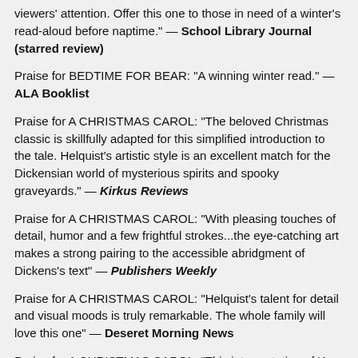viewers' attention. Offer this one to those in need of a winter's read-aloud before naptime." — School Library Journal (starred review)
Praise for BEDTIME FOR BEAR: "A winning winter read." — ALA Booklist
Praise for A CHRISTMAS CAROL: "The beloved Christmas classic is skillfully adapted for this simplified introduction to the tale. Helquist's artistic style is an excellent match for the Dickensian world of mysterious spirits and spooky graveyards." — Kirkus Reviews
Praise for A CHRISTMAS CAROL: "With pleasing touches of detail, humor and a few frightful strokes...the eye-catching art makes a strong pairing to the accessible abridgment of Dickens's text" — Publishers Weekly
Praise for A CHRISTMAS CAROL: "Helquist's talent for detail and visual moods is truly remarkable. The whole family will love this one" — Deseret Morning News
Praise for A CHRISTMAS CAROL: "This interpretation of 'A Christmas Carol' is not to be missed. Brett Helquist gets everything just right." — Asheville Citizen-Times
Praise for ROGER, THE ACK-WABITE: "...